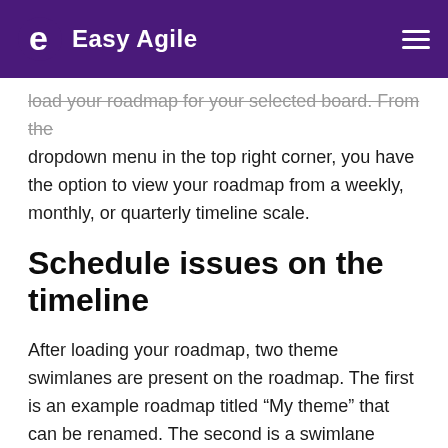Easy Agile
load your roadmap for your selected board. From the dropdown menu in the top right corner, you have the option to view your roadmap from a weekly, monthly, or quarterly timeline scale.
Schedule issues on the timeline
After loading your roadmap, two theme swimlanes are present on the roadmap. The first is an example roadmap titled “My theme” that can be renamed. The second is a swimlane called “issues without themes.” Any issues populated within your selected date fields will appear on the timeline in a swimlane titled “issues without themes,” located at the bottom of your roadmap.